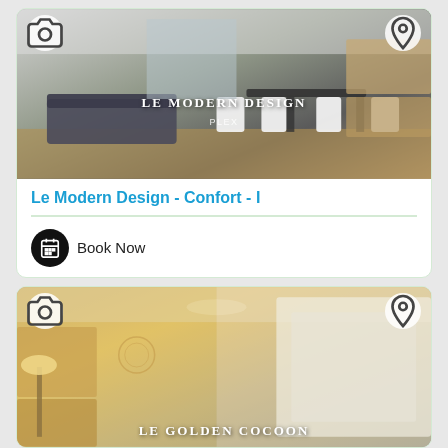[Figure (photo): Interior photo of a modern apartment living/dining area with dark sofa, white chairs, dark dining table, wood floors, and kitchen in background. Overlay text reads 'LE MODERN DESIGN PLEX'. Camera and location pin icons overlaid.]
Le Modern Design - Confort - I
Book Now
[Figure (photo): Interior photo of a warm-toned apartment kitchen/living area with warm lighting. Overlay text reads 'LE GOLDEN COCOON'. Camera and location pin icons overlaid.]